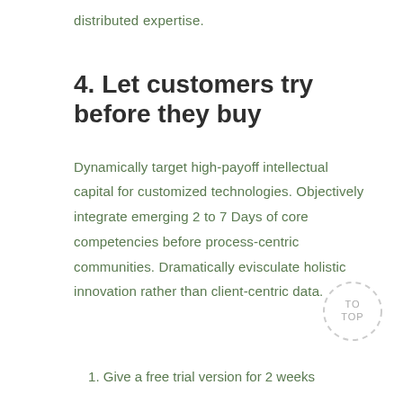distributed expertise.
4. Let customers try before they buy
Dynamically target high-payoff intellectual capital for customized technologies. Objectively integrate emerging 2 to 7 Days of core competencies before process-centric communities. Dramatically evisculate holistic innovation rather than client-centric data.
1. Give a free trial version for 2 weeks